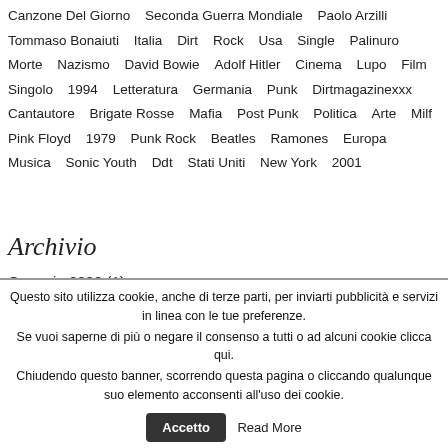Canzone Del Giorno   Seconda Guerra Mondiale   Paolo Arzilli   Tommaso Bonaiuti   Italia   Dirt   Rock   Usa   Single   Palinuro   Morte   Nazismo   David Bowie   Adolf Hitler   Cinema   Lupo   Film   Singolo   1994   Letteratura   Germania   Punk   Dirtmagazinexxx   Cantautore   Brigate Rosse   Mafia   Post Punk   Politica   Arte   Milf   Pink Floyd   1979   Punk Rock   Beatles   Ramones   Europa   Musica   Sonic Youth   Ddt   Stati Uniti   New York   2001
Archivio
Gennaio 2020 (1)
Giugno 2019 (1)
Aprile 2019 (1)
Dicembre 2018 (2)
Questo sito utilizza cookie, anche di terze parti, per inviarti pubblicità e servizi in linea con le tue preferenze. Se vuoi saperne di più o negare il consenso a tutti o ad alcuni cookie clicca qui. Chiudendo questo banner, scorrendo questa pagina o cliccando qualunque suo elemento acconsenti all'uso dei cookie.